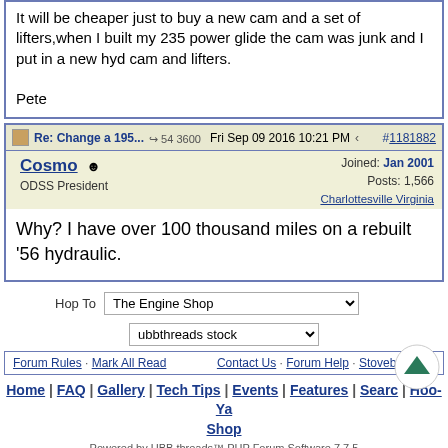It will be cheaper just to buy a new cam and a set of lifters,when I built my 235 power glide the cam was junk and I put in a new hyd cam and lifters.

Pete
Re: Change a 195... · 54 3600  Fri Sep 09 2016 10:21 PM  #1181882
Cosmo  ODSS President  Joined: Jan 2001  Posts: 1,566  Charlottesville Virginia
Why? I have over 100 thousand miles on a rebuilt '56 hydraulic.
Hop To  The Engine Shop
ubbthreads stock
Forum Rules · Mark All Read   Contact Us · Forum Help · Stovebolt.com
Home | FAQ | Gallery | Tech Tips | Events | Features | Search | Hoo-Ya Shop
Powered by UBB.threads™ PHP Forum Software 7.7.5